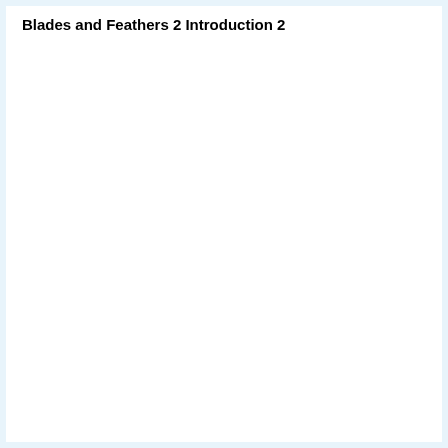Blades and Feathers 2 Introduction 2